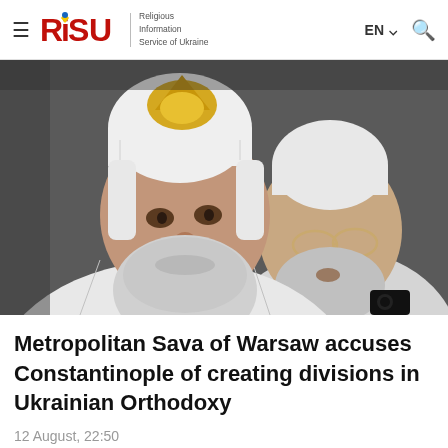RISU | Religious Information Service of Ukraine | EN | Search
[Figure (photo): Two Orthodox Christian clergy in white vestments and white mitres (patriarchal headdresses), photographed outdoors. The man in the foreground has a prominent grey beard; the man behind him wears gold-rimmed glasses and also has a grey beard.]
Metropolitan Sava of Warsaw accuses Constantinople of creating divisions in Ukrainian Orthodoxy
12 August, 22:50